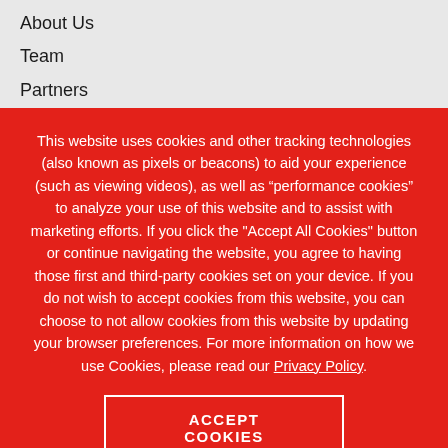About Us
Team
Partners
This website uses cookies and other tracking technologies (also known as pixels or beacons) to aid your experience (such as viewing videos), as well as “performance cookies” to analyze your use of this website and to assist with marketing efforts. If you click the "Accept All Cookies" button or continue navigating the website, you agree to having those first and third-party cookies set on your device. If you do not wish to accept cookies from this website, you can choose to not allow cookies from this website by updating your browser preferences. For more information on how we use Cookies, please read our Privacy Policy.
ACCEPT COOKIES